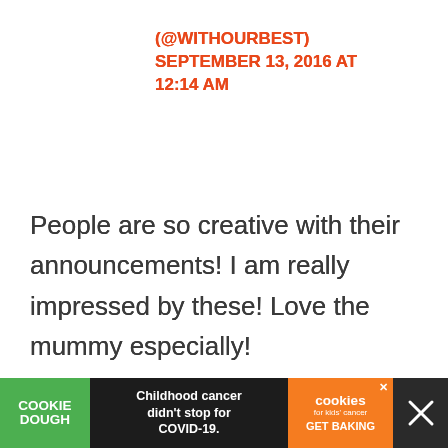(@WITHOURBEST)
SEPTEMBER 13, 2016 AT 12:14 AM
People are so creative with their announcements! I am really impressed by these! Love the mummy especially!
Reply
[Figure (screenshot): Ad banner: Cookie Dough brand advertisement with text 'Childhood cancer didn't stop for COVID-19.' and cookies for kids cancer GET BAKING orange logo]